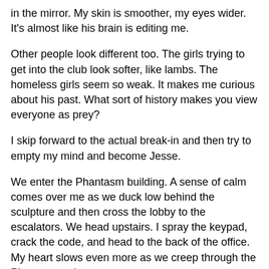in the mirror. My skin is smoother, my eyes wider. It's almost like his brain is editing me.
Other people look different too. The girls trying to get into the club look softer, like lambs. The homeless girls seem so weak. It makes me curious about his past. What sort of history makes you view everyone as prey?
I skip forward to the actual break-in and then try to empty my mind and become Jesse.
We enter the Phantasm building. A sense of calm comes over me as we duck low behind the sculpture and then cross the lobby to the escalators. We head upstairs. I spray the keypad, crack the code, and head to the back of the office. My heart slows even more as we creep through the Phantasm suite.
Everything plays out pretty much like I expect until the guy busts in with the gun.
We're positioned against the wall. We exchange looks. I